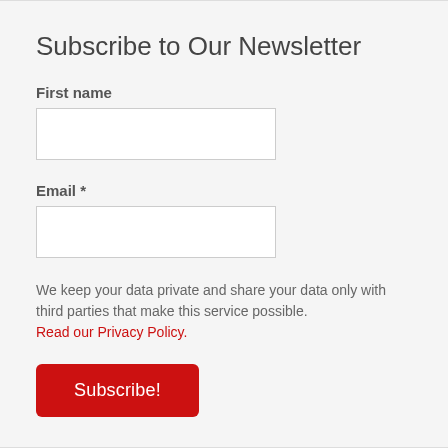Subscribe to Our Newsletter
First name
Email *
We keep your data private and share your data only with third parties that make this service possible. Read our Privacy Policy.
Subscribe!